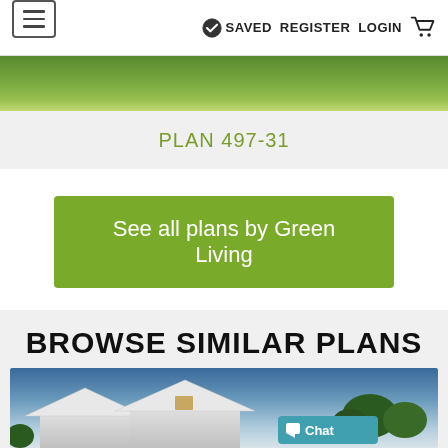≡   ✓ SAVED   REGISTER   LOGIN   🛒
[Figure (photo): Green foliage/landscape banner image strip]
PLAN 497-31
See all plans by Green Living
BROWSE SIMILAR PLANS
[Figure (photo): House exterior photo showing white roof peaks against blue sky with trees, with a Chat button overlay]